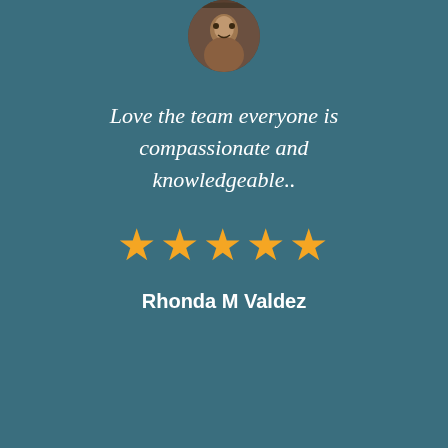[Figure (photo): Circular avatar photo of a person]
Love the team everyone is compassionate and knowledgeable..
[Figure (other): Five gold star rating]
Rhonda M Valdez